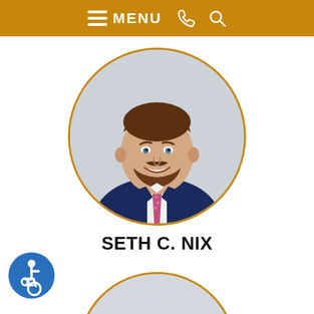MENU
[Figure (photo): Circular headshot of attorney Seth C. Nix, a man with brown beard and mustache wearing a navy blue suit and pink patterned tie, smiling, against a light grey background. Photo framed in a circle with a gold/amber border.]
SETH C. NIX
[Figure (illustration): Blue circular accessibility icon (wheelchair symbol) in the lower-left corner of the page.]
[Figure (photo): Circular headshot of a second attorney, partially visible, showing a man with dark hair wearing a suit, against a light background. Photo framed in a circle with a gold/amber border. Only the upper portion of the circle is visible.]